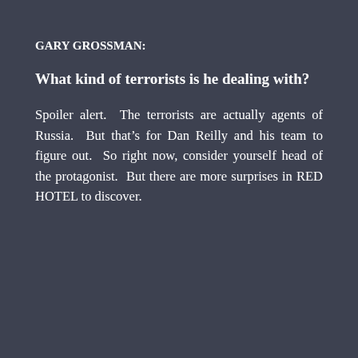GARY GROSSMAN:
What kind of terrorists is he dealing with?
Spoiler alert.  The terrorists are actually agents of Russia.  But that’s for Dan Reilly and his team to figure out.  So right now, consider yourself head of the protagonist.  But there are more surprises in RED HOTEL to discover.